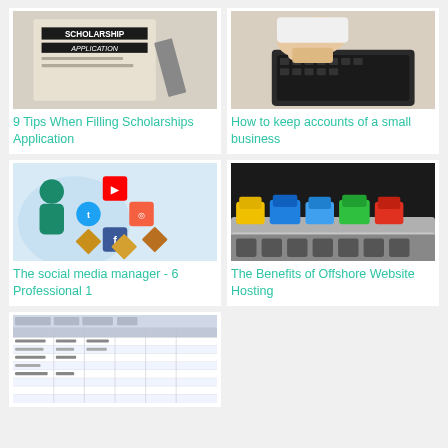[Figure (photo): Scholarship application form with a pen]
[Figure (photo): Person's hands typing on a keyboard]
9 Tips When Filling Scholarships Application
How to keep accounts of a small business
[Figure (illustration): Illustration of social media icons arranged in a diamond/house shape held by a person]
[Figure (photo): Colorful ethernet/network cables plugged into a router or switch]
The social media manager - 6 Professional 1
The Benefits of Offshore Website Hosting
[Figure (screenshot): Screenshot of a spreadsheet or data table]